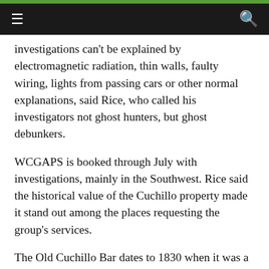≡  🔍
investigations can't be explained by electromagnetic radiation, thin walls, faulty wiring, lights from passing cars or other normal explanations, said Rice, who called his investigators not ghost hunters, but ghost debunkers.
WCGAPS is booked through July with investigations, mainly in the Southwest. Rice said the historical value of the Cuchillo property made it stand out among the places requesting the group's services.
The Old Cuchillo Bar dates to 1830 when it was a stagecoach stop. At one time, freight was unloaded and taken by wagon to nearby mines in Winston or Chloride.